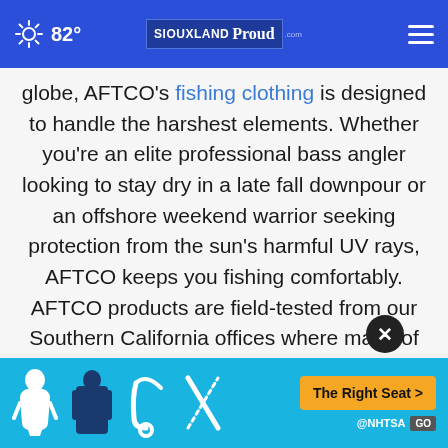82° SIOUXLAND Proud
globe, AFTCO's fishing clothing is designed to handle the harshest elements. Whether you're an elite professional bass angler looking to stay dry in a late fall downpour or an offshore weekend warrior seeking protection from the sun's harmful UV rays, AFTCO keeps you fishing comfortably. AFTCO products are field-tested from our Southern California offices where many of our core saltwater fishing tackle products are still proudly handcrafted and manufactured in
[Figure (infographic): NHTSA advertisement banner with car seat safety icons and 'The Right Seat >' call-to-action button in orange]